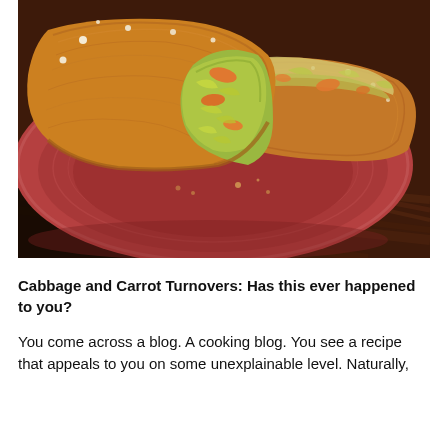[Figure (photo): A photo of cabbage and carrot turnovers (flaky pastry filled with shredded cabbage and carrots) cut open and placed on a terracotta/red ceramic plate on a dark wooden table.]
Cabbage and Carrot Turnovers: Has this ever happened to you?
You come across a blog. A cooking blog. You see a recipe that appeals to you on some unexplainable level. Naturally,